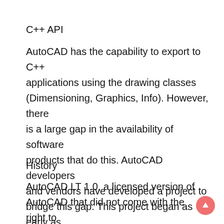C++ API
AutoCAD has the capability to export to C++ applications using the drawing classes (Dimensioning, Graphics, Info). However, there is a large gap in the availability of software products that do this. AutoCAD developers and vendors have developed a project to bridge this gap. This project began as early as 2004 and is called.NET AutoCAD.
History
AutoCAD LT 1.0, a licensed version of AutoCAD that did not come with the right to use the original AutoCAD codebase, was first released in 1992.